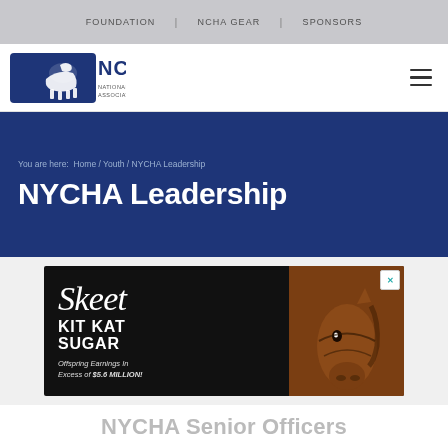FOUNDATION | NCHA GEAR | SPONSORS
[Figure (logo): NCHA National Cutting Horse Association logo in navy blue]
You are here: Home / Youth / NYCHA Leadership
NYCHA Leadership
[Figure (infographic): Advertisement for Skeet Kit Kat Sugar horse with text: KIT KAT SUGAR, Offspring Earnings In Excess of $5.6 MILLION!]
NYCHA Senior Officers